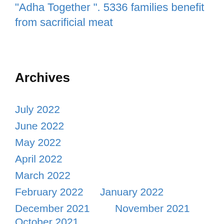“Adha Together ”. 5336 families benefit from sacrificial meat
Archives
July 2022
June 2022
May 2022
April 2022
March 2022
February 2022
January 2022
December 2021
November 2021
October 2021